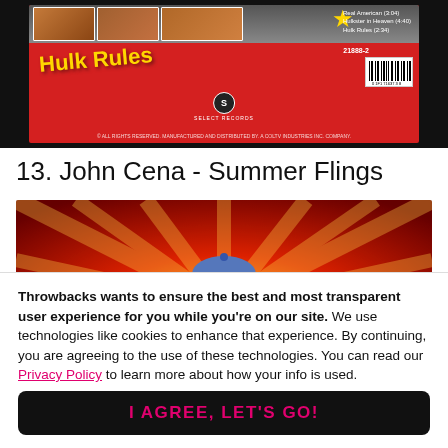[Figure (photo): Back cover of 'Hulk Rules' CD on Select Records, red background with photos of Hulk Hogan at top, yellow cursive title 'Hulk Rules', catalog number 21888-2, barcode, and small print at bottom.]
13. John Cena - Summer Flings
[Figure (photo): John Cena shouting with mouth wide open, wearing a blue baseball cap, against a dramatic red/orange sunburst background.]
Throwbacks wants to ensure the best and most transparent user experience for you while you're on our site. We use technologies like cookies to enhance that experience. By continuing, you are agreeing to the use of these technologies. You can read our Privacy Policy to learn more about how your info is used.
I AGREE, LET'S GO!